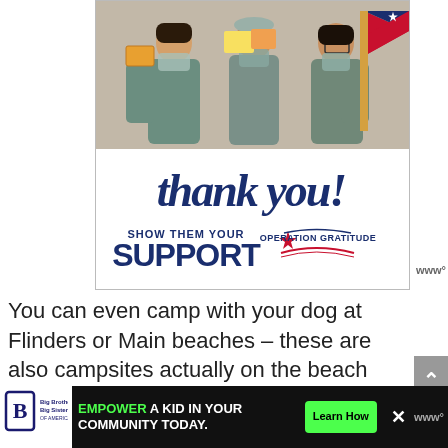[Figure (photo): Operation Gratitude advertisement showing three nurses in scrubs and masks holding thank-you cards, with 'Thank you! SHOW THEM YOUR SUPPORT' text and Operation Gratitude logo with pencil graphic]
You can even camp with your dog at Flinders or Main beaches – these are also campsites actually on the beach and a 4WD is required.
Most campsites have the choice between powered and non powered sites as well as a few cabins. Facilities include showers, toilets, and
[Figure (infographic): Bottom advertisement bar: Big Brothers Big Sisters of America logo on left, green 'EMPOWER A KID IN YOUR COMMUNITY TODAY.' text in center with 'Learn How' green button, and close X button]